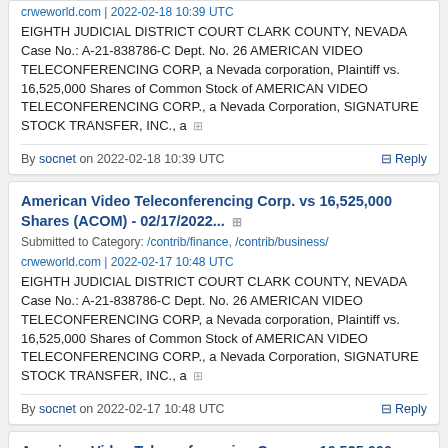crweworld.com | 2022-02-18 10:39 UTC
EIGHTH JUDICIAL DISTRICT COURT CLARK COUNTY, NEVADA Case No.: A-21-838786-C Dept. No. 26 AMERICAN VIDEO TELECONFERENCING CORP, a Nevada corporation, Plaintiff vs. 16,525,000 Shares of Common Stock of AMERICAN VIDEO TELECONFERENCING CORP., a Nevada Corporation, SIGNATURE STOCK TRANSFER, INC., a ⊞
By socnet on 2022-02-18 10:39 UTC
⊟ Reply
American Video Teleconferencing Corp. vs 16,525,000 Shares (ACOM) - 02/17/2022... ⊞
Submitted to Category: /contrib/finance, /contrib/business/
crweworld.com | 2022-02-17 10:48 UTC
EIGHTH JUDICIAL DISTRICT COURT CLARK COUNTY, NEVADA Case No.: A-21-838786-C Dept. No. 26 AMERICAN VIDEO TELECONFERENCING CORP, a Nevada corporation, Plaintiff vs. 16,525,000 Shares of Common Stock of AMERICAN VIDEO TELECONFERENCING CORP., a Nevada Corporation, SIGNATURE STOCK TRANSFER, INC., a ⊞
By socnet on 2022-02-17 10:48 UTC
⊟ Reply
American Video Teleconferencing Corp. vs 16,525,000 Shares (ACOM) - 02/16/2022... ⊞